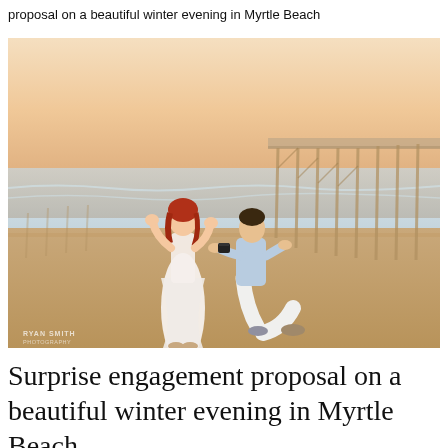proposal on a beautiful winter evening in Myrtle Beach
[Figure (photo): A couple on a beach near a pier at sunset. A man is down on one knee proposing to a woman in a white dress with red hair. The woman has her hands on her face in surprise. The man is wearing a light blue shirt and white pants. A wooden pier is visible in the background. Photo credit: Ryan Smith Photography.]
Surprise engagement proposal on a beautiful winter evening in Myrtle Beach